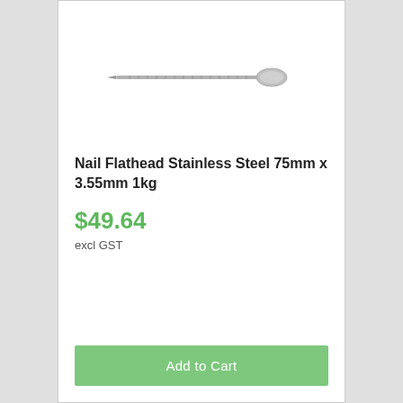[Figure (photo): A single flathead stainless steel nail oriented horizontally, shown against a white background. The nail has a flat circular head on the right and a pointed tip on the left.]
Nail Flathead Stainless Steel 75mm x 3.55mm 1kg
$49.64
excl GST
Add to Cart